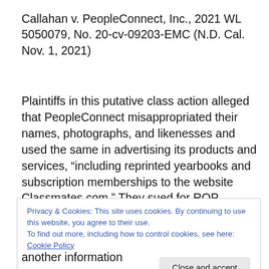Callahan v. PeopleConnect, Inc., 2021 WL 5050079, No. 20-cv-09203-EMC (N.D. Cal. Nov. 1, 2021)
Plaintiffs in this putative class action alleged that PeopleConnect misappropriated their names, photographs, and likenesses and used the same in advertising its products and services, “including reprinted yearbooks and subscription memberships to the website Classmates.com.” They sued for ROP violations, intrusion on seclusion, and unjust
Privacy & Cookies: This site uses cookies. By continuing to use this website, you agree to their use.
To find out more, including how to control cookies, see here: Cookie Policy
another information